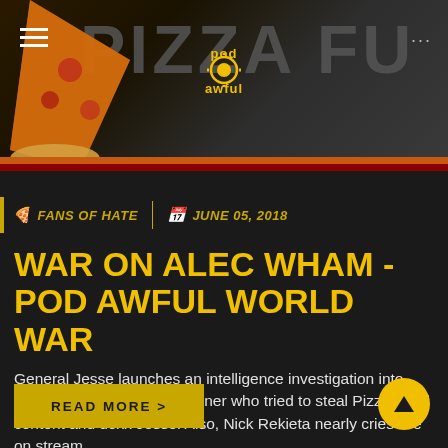[Figure (screenshot): Pod Awful website header banner with pizza slice image, large gray 'PIZZA FU' text in background, Pod Awful logo in center, hamburger menu on left, three dots on right]
FANS OF HATE  |  JUNE 05, 2018
WAR ON ALEC WHAM - POD AWFUL WORLD WAR
General Jesse launches an intelligence investigation into enemy "Alec Wham," a listener who tried to steal Pizza Fund content and doxx Jesse. Also, Nick Rekieta nearly cries live on stream.
READ MORE >